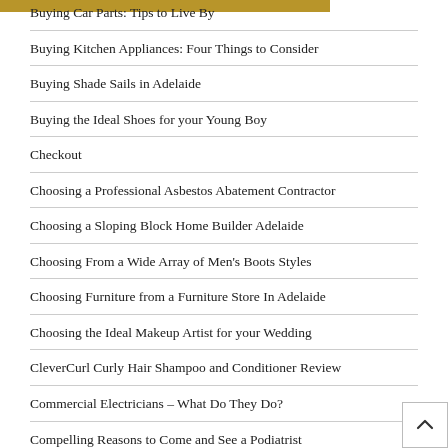Buying Car Parts: Tips to Live By
Buying Kitchen Appliances: Four Things to Consider
Buying Shade Sails in Adelaide
Buying the Ideal Shoes for your Young Boy
Checkout
Choosing a Professional Asbestos Abatement Contractor
Choosing a Sloping Block Home Builder Adelaide
Choosing From a Wide Array of Men's Boots Styles
Choosing Furniture from a Furniture Store In Adelaide
Choosing the Ideal Makeup Artist for your Wedding
CleverCurl Curly Hair Shampoo and Conditioner Review
Commercial Electricians – What Do They Do?
Compelling Reasons to Come and See a Podiatrist